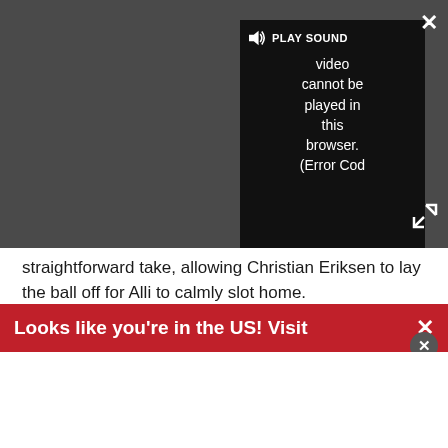[Figure (screenshot): Video player UI showing a dark gray background with a black video panel. The panel displays 'PLAY SOUND' with a speaker icon and text reading 'Video cannot be played in this browser. (Error Cod'. A white X close button is in the top right and an expand icon in the bottom right.]
straightforward take, allowing Christian Eriksen to lay the ball off for Alli to calmly slot home.
10 - Christian Eriksen (10 goals, 10 assists) is the third Tottenham player to hit double figures for both goals and assists in a single Premier League season, after Jurgen Klinsmann in 94/95 and Emmanuel Adebayor in 11/12. Star. April 30, 2018
Looks like you're in the US! Visit